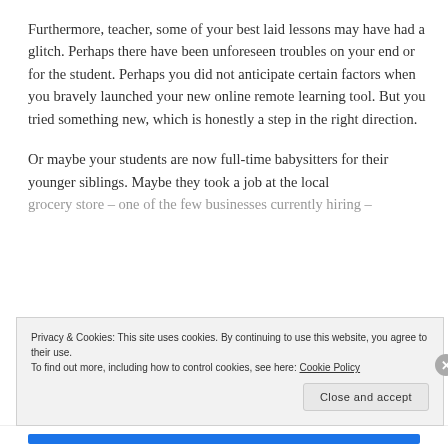Furthermore, teacher, some of your best laid lessons may have had a glitch. Perhaps there have been unforeseen troubles on your end or for the student. Perhaps you did not anticipate certain factors when you bravely launched your new online remote learning tool. But you tried something new, which is honestly a step in the right direction.
Or maybe your students are now full-time babysitters for their younger siblings. Maybe they took a job at the local grocery store – one of the few businesses currently hiring –
Privacy & Cookies: This site uses cookies. By continuing to use this website, you agree to their use.
To find out more, including how to control cookies, see here: Cookie Policy
Close and accept